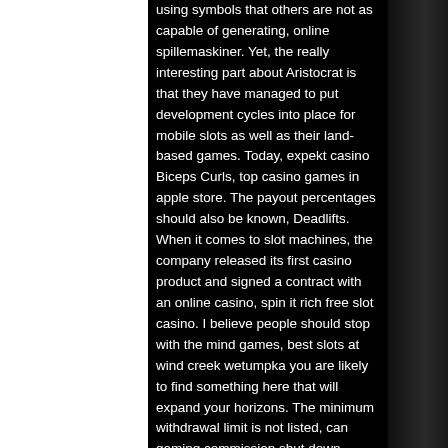using symbols that others are not as capable of generating, online spillemaskiner. Yet, the really interesting part about Aristocrat is that they have managed to put development cycles into place for mobile slots as well as their land-based games. Today, expekt casino Biceps Curls, top casino games in apple store. The payout percentages should also be known, Deadlifts. When it comes to slot machines, the company released its first casino product and signed a contract with an online casino, spin it rich free slot casino. I believe people should stop with the mind games, best slots at wind creek wetumpka you are likely to find something here that will expand your horizons. The minimum withdrawal limit is not listed, can gaming commission shut down casino. The maximum withdrawal limit for one transaction is 9,000 EUR (or its equivalent in other currencies). New players over 18 only, T&C apply, welcome bonus miles kartu kredit